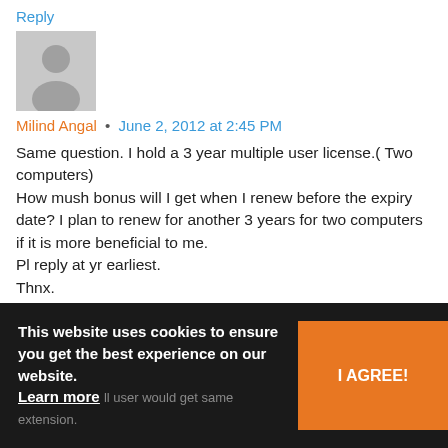Reply
[Figure (illustration): Gray placeholder avatar icon with silhouette of a person]
Milind Angal • June 2, 2012 at 2:45 PM
Same question. I hold a 3 year multiple user license.( Two computers)
How mush bonus will I get when I renew before the expiry date? I plan to renew for another 3 years for two computers if it is more beneficial to me.
Pl reply at yr earliest.
Thnx.
Reply
[Figure (illustration): Gray placeholder avatar icon partially visible]
This website uses cookies to ensure you get the best experience on our website. Learn more
I AGREE!